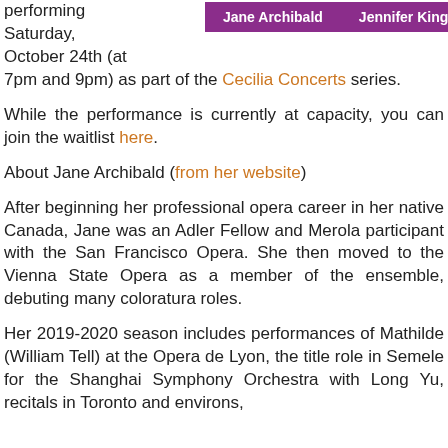| Jane Archibald | Jennifer King |
| --- | --- |
performing Saturday, October 24th (at 7pm and 9pm) as part of the Cecilia Concerts series.
While the performance is currently at capacity, you can join the waitlist here.
About Jane Archibald (from her website)
After beginning her professional opera career in her native Canada, Jane was an Adler Fellow and Merola participant with the San Francisco Opera. She then moved to the Vienna State Opera as a member of the ensemble, debuting many coloratura roles.
Her 2019-2020 season includes performances of Mathilde (William Tell) at the Opera de Lyon, the title role in Semele for the Shanghai Symphony Orchestra with Long Yu, recitals in Toronto and environs,